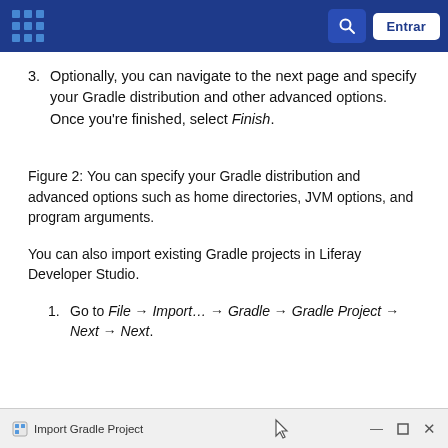Entrar
3. Optionally, you can navigate to the next page and specify your Gradle distribution and other advanced options. Once you're finished, select Finish.
Figure 2: You can specify your Gradle distribution and advanced options such as home directories, JVM options, and program arguments.
You can also import existing Gradle projects in Liferay Developer Studio.
1. Go to File → Import… → Gradle → Gradle Project → Next → Next.
[Figure (screenshot): Import Gradle Project dialog window title bar]